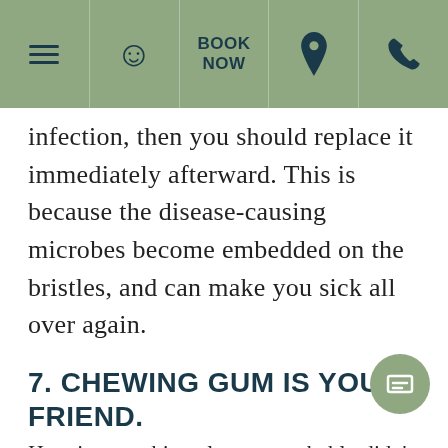Navigation bar with hamburger menu, smiley icon, BOOK NOW, location pin, and phone icon
infection, then you should replace it immediately afterward. This is because the disease-causing microbes become embedded on the bristles, and can make you sick all over again.
7. CHEWING GUM IS YOUR FRIEND.
Here is something else you probably didn't know either. Sugar-free chewing gum with xylitol is actually good for your teeth and gums because it fights the harmful bacteria in your mouth. It is even used in toothpaste, to sweeten it.